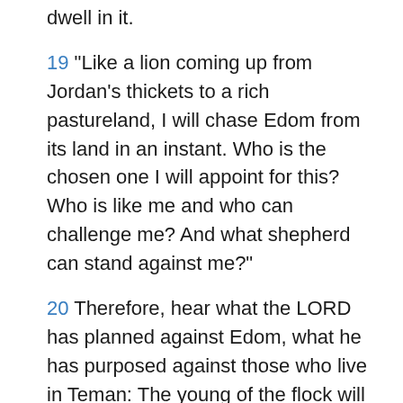dwell in it.
19 “Like a lion coming up from Jordan’s thickets to a rich pastureland, I will chase Edom from its land in an instant. Who is the chosen one I will appoint for this? Who is like me and who can challenge me? And what shepherd can stand against me?”
20 Therefore, hear what the LORD has planned against Edom, what he has purposed against those who live in Teman: The young of the flock will be dragged away; their pasture will be appalled at their fate.